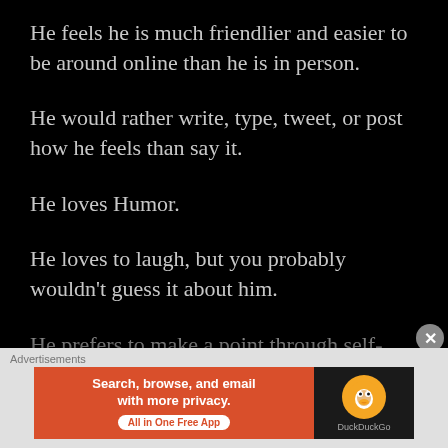He feels he is much friendlier and easier to be around online than he is in person.
He would rather write, type, tweet, or post how he feels than say it.
He loves Humor.
He loves to laugh, but you probably wouldn't guess it about him.
He prefers to make a point through self-deprecating humor, especially those tougher points that deal with other people and may hurt feelings.
[Figure (screenshot): DuckDuckGo advertisement banner: orange left panel with 'Search, browse, and email with more privacy. All in One Free App' and dark right panel with DuckDuckGo logo]